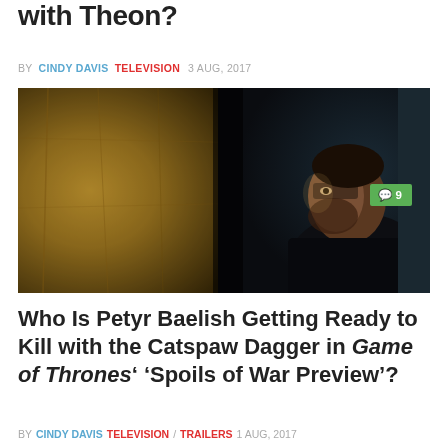with Theon?
BY CINDY DAVIS  TELEVISION  3 AUG, 2017
[Figure (photo): A man with dark beard peering around a stone wall in a dimly lit scene, likely from Game of Thrones. Green comment badge showing '9' in top right corner.]
Who Is Petyr Baelish Getting Ready to Kill with the Catspaw Dagger in Game of Thrones' 'Spoils of War Preview'?
BY CINDY DAVIS  TELEVISION / TRAILERS  1 AUG, 2017